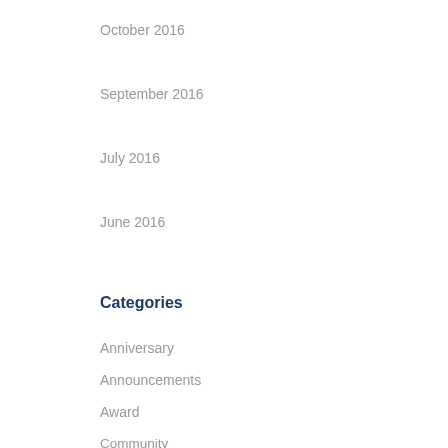October 2016
September 2016
July 2016
June 2016
Categories
Anniversary
Announcements
Award
Community
Industry
News
Personnel
Press
Projects
Uncategorized